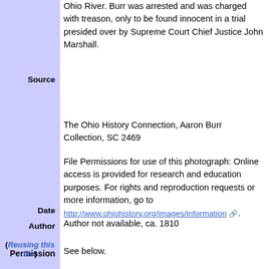Ohio River. Burr was arrested and was charged with treason, only to be found innocent in a trial presided over by Supreme Court Chief Justice John Marshall.
Source
The Ohio History Connection, Aaron Burr Collection, SC 2469
File Permissions for use of this photograph: Online access is provided for research and education purposes. For rights and reproduction requests or more information, go to http://www.ohiohistory.org/images/information.
Date
Author
Author not available, ca. 1810
Permission
(Reusing this file)
See below.